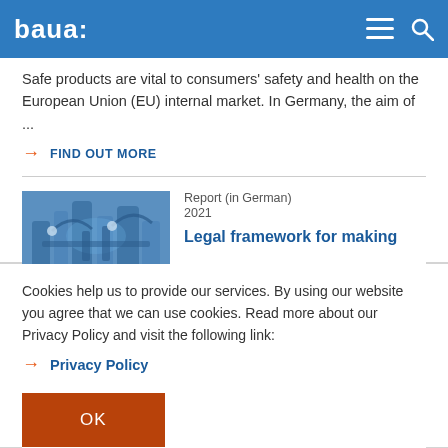baua:
Safe products are vital to consumers' safety and health on the European Union (EU) internal market. In Germany, the aim of ...
→ FIND OUT MORE
[Figure (photo): Blue-tinted industrial/manufacturing scene with robotic or mechanical equipment]
Report (in German)
2021
Legal framework for making
Cookies help us to provide our services. By using our website you agree that we can use cookies. Read more about our Privacy Policy and visit the following link:
→ Privacy Policy
OK